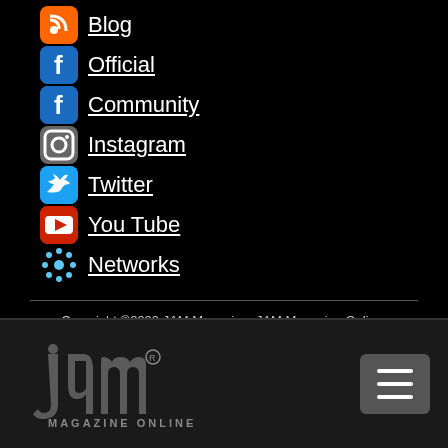Blog
Official
Community
Instagram
Twitter
You Tube
Networks
Copyright ©2022 JAM Magazine, JAM Magazine Online, JAM Mag, JAM Mag Online
[Figure (logo): JAM Magazine Online logo with hamburger menu button in bottom navigation bar]